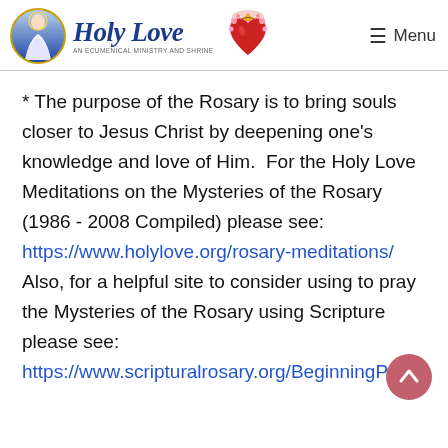Holy Love — An Ecumenical Ministry and Shrine | Menu
* The purpose of the Rosary is to bring souls closer to Jesus Christ by deepening one's knowledge and love of Him.  For the Holy Love Meditations on the Mysteries of the Rosary (1986 - 2008 Compiled) please see: https://www.holylove.org/rosary-meditations/ Also, for a helpful site to consider using to pray the Mysteries of the Rosary using Scripture please see: https://www.scripturalrosary.org/BeginningPray